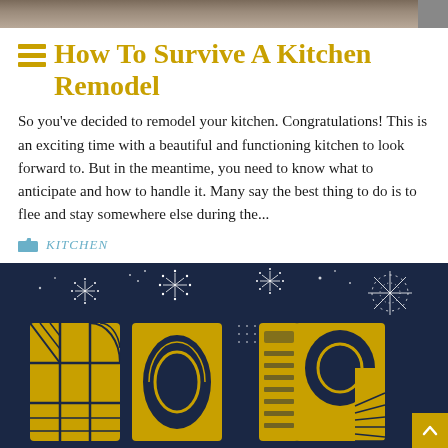[Figure (photo): Top banner image showing a kitchen or food scene in muted brown tones]
How To Survive A Kitchen Remodel
So you've decided to remodel your kitchen. Congratulations! This is an exciting time with a beautiful and functioning kitchen to look forward to. But in the meantime, you need to know what to anticipate and how to handle it. Many say the best thing to do is to flee and stay somewhere else during the...
KITCHEN
[Figure (illustration): Dark navy blue background with gold/yellow art deco style numbers '2019' and fireworks decoration, New Year themed graphic]